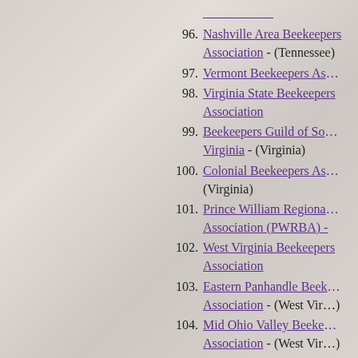96. Nashville Area Beekeepers Association - (Tennessee)
97. Vermont Beekeepers Association
98. Virginia State Beekeepers Association
99. Beekeepers Guild of Southern Virginia - (Virginia)
100. Colonial Beekeepers Association - (Virginia)
101. Prince William Regional Beekeepers Association (PWRBA) -
102. West Virginia Beekeepers Association
103. Eastern Panhandle Beekeepers Association - (West Virginia)
104. Mid Ohio Valley Beekeepers Association - (West Virginia)
105. Norfolk Beekeepers Association - (UK)